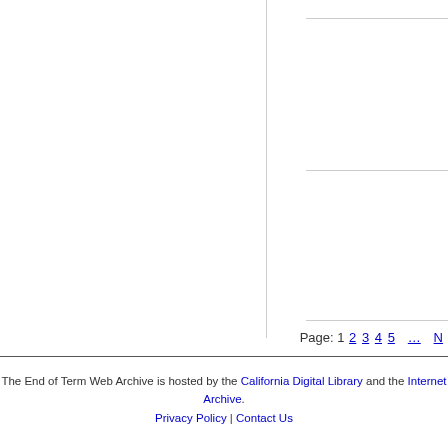Page: 1 2 3 4 5 … N
The End of Term Web Archive is hosted by the California Digital Library and the Internet Archive.
Privacy Policy | Contact Us